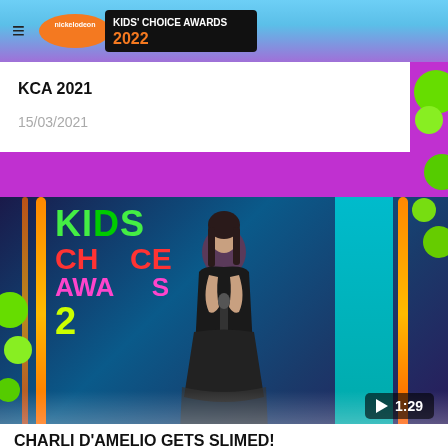Kids' Choice Awards 2022
KCA 2021
15/03/2021
[Figure (photo): Woman in black dress on stage at Kids Choice Awards 2021, holding microphone, with colorful KCA backdrop. Video thumbnail with play button showing 1:29 duration.]
CHARLI D'AMELIO GETS SLIMED!
KCA 2021